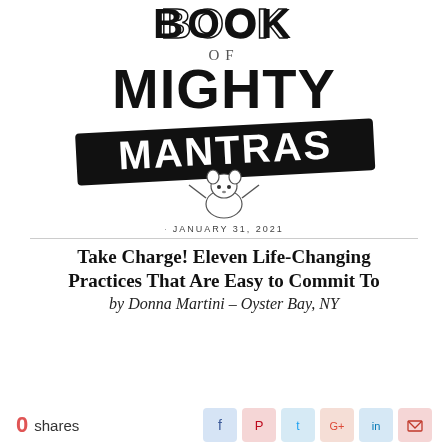[Figure (illustration): Book of Mighty Mantras cover showing large bold text 'BOOK OF MIGHTY MANTRAS' with a cartoon mouse illustration holding up the MANTRAS banner on a black background]
· JANUARY 31, 2021
Take Charge! Eleven Life-Changing Practices That Are Easy to Commit To by Donna Martini – Oyster Bay, NY
0 shares